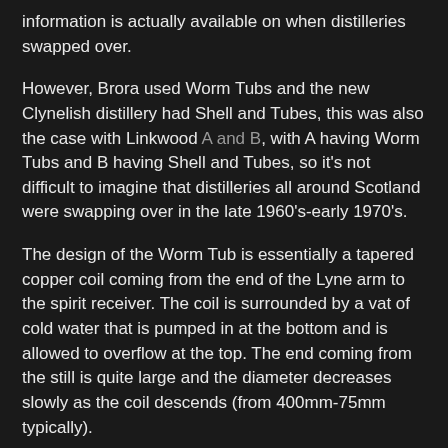information is actually available on when distilleries swapped over.
However, Brora used Worm Tubs and the new Clynelish distillery had Shell and Tubes, this was also the case with Linkwood A and B, with A having Worm Tubs and B having Shell and Tubes, so it's not difficult to imagine that distilleries all around Scotland were swapping over in the late 1960's-early 1970's.
The design of the Worm Tub is essentially a tapered copper coil coming from the end of the Lyne arm to the spirit receiver. The coil is surrounded by a vat of cold water that is pumped in at the bottom and is allowed to overflow at the top. The end coming from the still is quite large and the diameter decreases slowly as the coil descends (from 400mm-75mm typically).
The spirit coming into the coil condenses slowly as the coil tapers and the water becomes colder towards the bottom. This causes the spirit to interact much less with the copper of the coil, but just enough to leave deposits (copper sulphate I assume) that are not stripped off. As the Worm Tub continues to be used, these deposits will keep developing, causing less reaction with the copper over